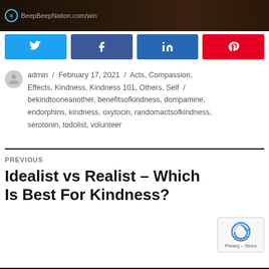[Figure (screenshot): Top dark banner with BeepBeepNation.com/win logo and URL]
[Figure (infographic): Row of four social share buttons: Twitter (blue), Facebook (dark blue), LinkedIn (medium blue), Pinterest (red)]
admin / February 17, 2021 / Acts, Compassion, Effects, Kindness, Kindness 101, Others, Self / bekindtooneanother, benefitsofkindness, dompamine, endorphins, kindness, oxytocin, randomactsofkindness, serotonin, todolist, volunteer
PREVIOUS
Idealist vs Realist – Which Is Best For Kindness?